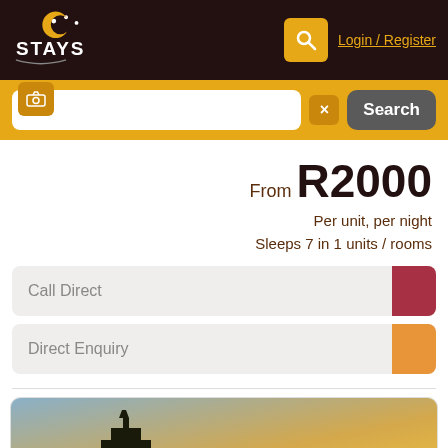STAYS — Login / Register
[Figure (screenshot): Orange search bar with camera icon, text input field, clear button, and Search button]
From R2000
Per unit, per night
Sleeps 7 in 1 units / rooms
Call Direct
Direct Enquiry
[Figure (photo): Sunset photo with silhouette of a building with a tower/cupola, bright orange sun setting on rolling hills]